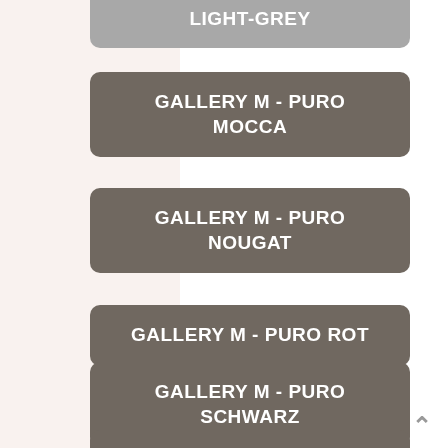LIGHT-GREY
GALLERY M - PURO MOCCA
GALLERY M - PURO NOUGAT
GALLERY M - PURO ROT
GALLERY M - PURO SCHWARZ
GALLERY M - PURO